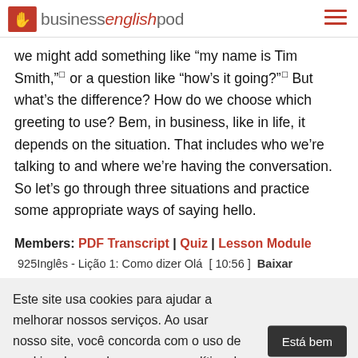businessenglishpod
we might add something like “my name is Tim Smith,” or a question like “how’s it going?” But what’s the difference? How do we choose which greeting to use? Bem, in business, like in life, it depends on the situation. That includes who we’re talking to and where we’re having the conversation. So let’s go through three situations and practice some appropriate ways of saying hello.
Members: PDF Transcript | Quiz | Lesson Module
925Inglês - Lição 1: Como dizer Olá  [ 10:56 ]  Baixar
Este site usa cookies para ajudar a melhorar nossos serviços. Ao usar nosso site, você concorda com o uso de cookies de acordo com nossa política de cookies. Descubra mais.